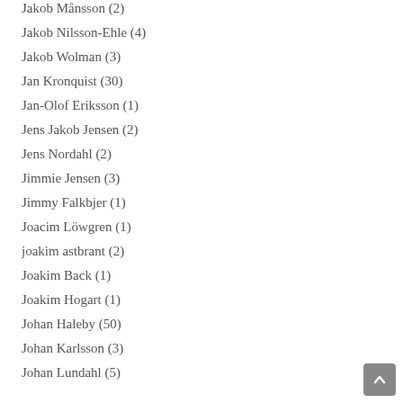Jakob Månsson (2)
Jakob Nilsson-Ehle (4)
Jakob Wolman (3)
Jan Kronquist (30)
Jan-Olof Eriksson (1)
Jens Jakob Jensen (2)
Jens Nordahl (2)
Jimmie Jensen (3)
Jimmy Falkbjer (1)
Joacim Löwgren (1)
joakim astbrant (2)
Joakim Back (1)
Joakim Hogart (1)
Johan Haleby (50)
Johan Karlsson (3)
Johan Lundahl (5)